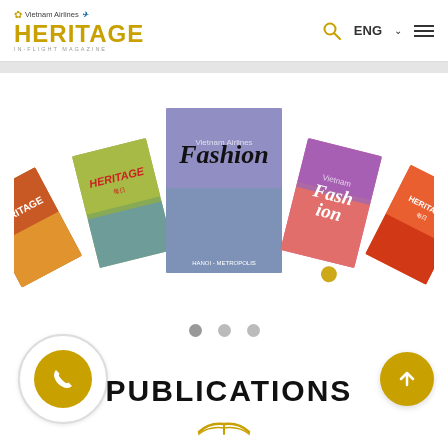Vietnam Airlines HERITAGE IN-FLIGHT MAGAZINE | ENG | Search | Menu
[Figure (photo): Fan arrangement of five magazine covers: HERITAGE (food cover), HERITAGE (children in field), Fashion (man in sweater), Fashion (woman in colorful dress), HERITAGE (bird cover)]
PUBLICATIONS